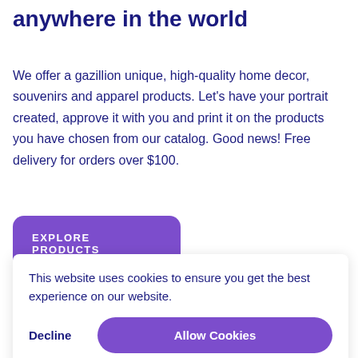anywhere in the world
We offer a gazillion unique, high-quality home decor, souvenirs and apparel products. Let's have your portrait created, approve it with you and print it on the products you have chosen from our catalog. Good news! Free delivery for orders over $100.
EXPLORE PRODUCTS
This website uses cookies to ensure you get the best experience on our website.
Decline
Allow Cookies